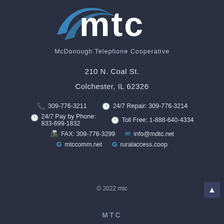[Figure (logo): MTC logo with blue swoosh graphic and white 'mtc' text, McDonough Telephone Cooperative underneath]
210 N. Coal St.
Colchester, IL 62326
309-776-3211   24/7 Repair: 309-776-3214
24/7 Pay by Phone: 833-699-1832   Toll Free: 1-888-640-4334
FAX: 309-776-3299   info@mdtc.net
mtccomm.net   ruralaccess.coop
© 2022 mtc
MTC